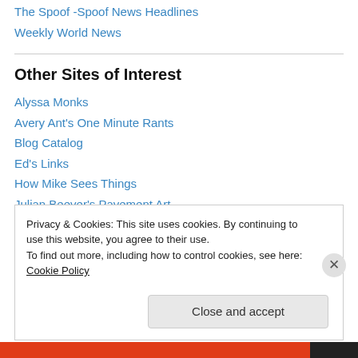The Spoof -Spoof News Headlines
Weekly World News
Other Sites of Interest
Alyssa Monks
Avery Ant's One Minute Rants
Blog Catalog
Ed's Links
How Mike Sees Things
Julian Beever's Pavement Art
Lionel Media
Privacy & Cookies: This site uses cookies. By continuing to use this website, you agree to their use.
To find out more, including how to control cookies, see here: Cookie Policy
Close and accept